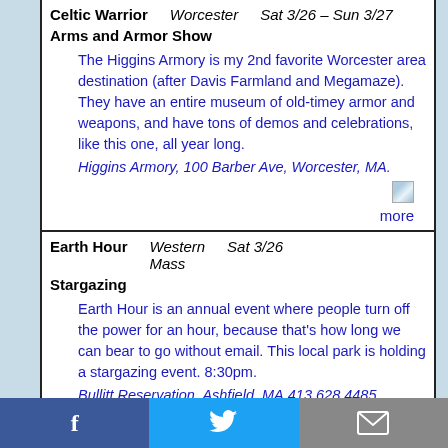Celtic Warrior Arms and Armor Show | Worcester | Sat 3/26 – Sun 3/27
The Higgins Armory is my 2nd favorite Worcester area destination (after Davis Farmland and Megamaze). They have an entire museum of old-timey armor and weapons, and have tons of demos and celebrations, like this one, all year long.
Higgins Armory, 100 Barber Ave, Worcester, MA.
Earth Hour Stargazing | Western Mass | Sat 3/26
Earth Hour is an annual event where people turn off the power for an hour, because that's how long we can bear to go without email. This local park is holding a stargazing event. 8:30pm.
Bullitt Reservation, Ashfield, MA.413.628.4485.
Clay Center's Public | Boston Metro | Tue 3/29
f  Twitter bird  mail